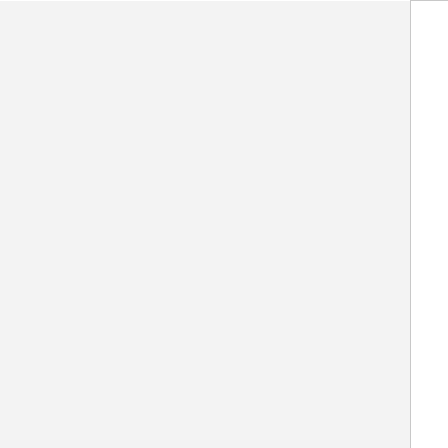| (left col) | Date | Tag | Notes |
| --- | --- | --- | --- |
|  |  |  | brewste... learned about c... baclt relation...
brewste... throwin... idea to omni ou... |
|  | 2015-10-19 | fundraising | confere... tomorro...
501c3,... |
|  | 2015-10-18 | becoming |  |
|  | 2015-10-15 | delegates |  |
|  | 2015-10-12 | commons |  |
|  | 2015-10-11 | becoming |  |
|  |  |  | berkeley la... |